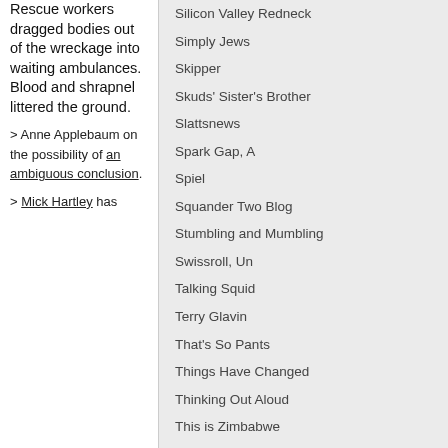Rescue workers dragged bodies out of the wreckage into waiting ambulances. Blood and shrapnel littered the ground.
> Anne Applebaum on the possibility of an ambiguous conclusion.
> Mick Hartley has
Silicon Valley Redneck
Simply Jews
Skipper
Skuds' Sister's Brother
Slattsnews
Spark Gap, A
Spiel
Squander Two Blog
Stumbling and Mumbling
Swissroll, Un
Talking Squid
Terry Glavin
That's So Pants
Things Have Changed
Thinking Out Aloud
This is Zimbabwe
This Itch of Writing
Three-Toed Sloth